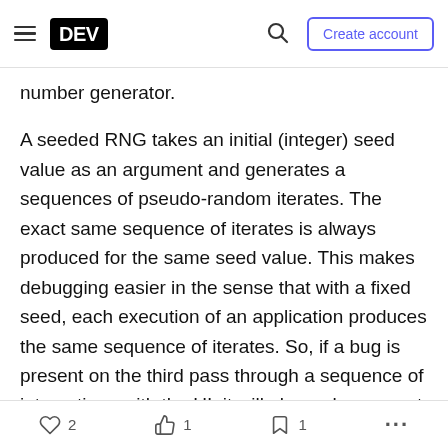DEV | Create account
number generator.
A seeded RNG takes an initial (integer) seed value as an argument and generates a sequences of pseudo-random iterates. The exact same sequence of iterates is always produced for the same seed value. This makes debugging easier in the sense that with a fixed seed, each execution of an application produces the same sequence of iterates. So, if a bug is present on the third pass through a sequence of interactions with the UI, it will always be present on the third pass. To make the process different for each run of the application, it is
2  1  1  ...